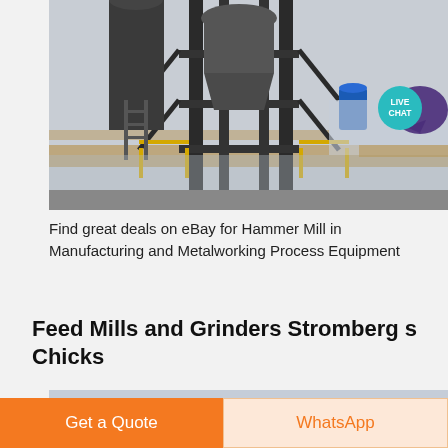[Figure (photo): Industrial hammer mill or grinding equipment — large black metal tower structure with yellow railings, blue barrel, pipes and scaffolding, photographed outdoors near water/industrial area.]
Find great deals on eBay for Hammer Mill in Manufacturing and Metalworking Process Equipment
Feed Mills and Grinders Stromberg s Chicks
[Figure (photo): Partial view of industrial equipment near water with mountains in background, yellow scaffolding and machinery visible.]
Get a Quote
WhatsApp